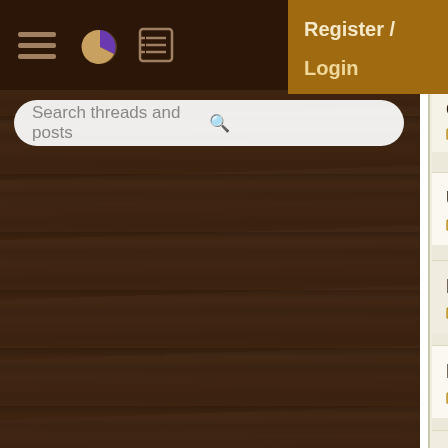[Figure (screenshot): Dark brown wood-textured header bar with hamburger menu, pie chart icon, and list icon]
[Figure (screenshot): Register / Login dropdown button in golden brown]
Search threads and posts
Clearing... 3 replies
Using servlets outside of... 1 reply
Remove Password From... 6 replies
Problem with j_security_... 0 replies
Regarding authenticated... 3 replies